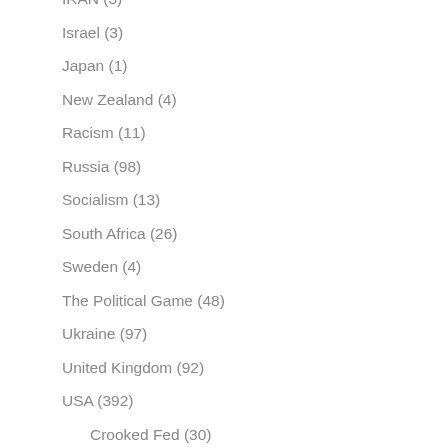IRAN (3)
Israel (3)
Japan (1)
New Zealand (4)
Racism (11)
Russia (98)
Socialism (13)
South Africa (26)
Sweden (4)
The Political Game (48)
Ukraine (97)
United Kingdom (92)
USA (392)
Crooked Fed (30)
Deep State (234)